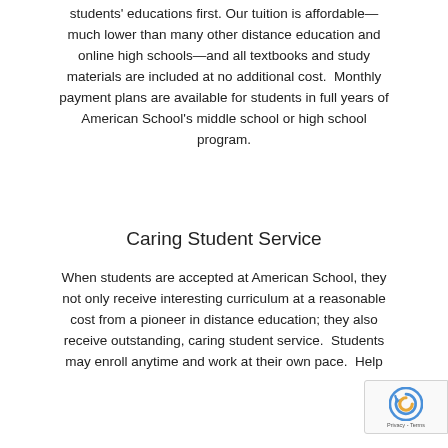students' educations first. Our tuition is affordable—much lower than many other distance education and online high schools—and all textbooks and study materials are included at no additional cost.  Monthly payment plans are available for students in full years of American School's middle school or high school program.
Caring Student Service
When students are accepted at American School, they not only receive interesting curriculum at a reasonable cost from a pioneer in distance education; they also receive outstanding, caring student service.  Students may enroll anytime and work at their own pace.  Help